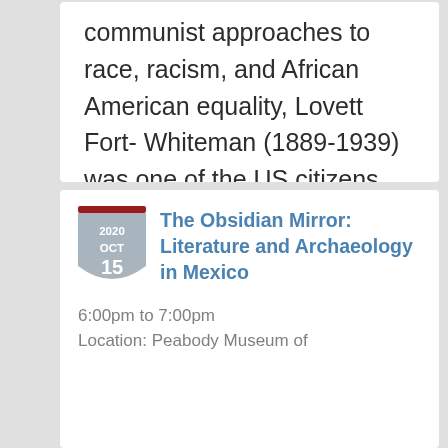communist approaches to race, racism, and African American equality, Lovett Fort- Whiteman (1889-1939) was one of the US citizens convinced (naively, to be sure) that Soviet society showed the way for overcoming racism in the United States. While visiting...
2020 OCT 15
The Obsidian Mirror: Literature and Archaeology in Mexico
6:00pm to 7:00pm
Location: Peabody Museum of